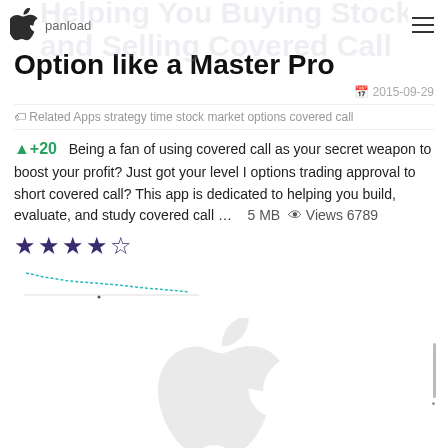panload
Option like a Master Pro
2015-09-29
Related Apps strategy time stock market options covered call
+20  Being a fan of using covered call as your secret weapon to boost your profit? Just got your level I options trading approval to short covered call? This app is dedicated to helping you build, evaluate, and study covered call ...    5 MB    Views 6789
[Figure (other): Star rating showing approximately 4 out of 5 stars (dark purple stars)]
[Figure (line-chart): Small mini line chart showing a declining trend line in teal/cyan color]
[Figure (logo): Apple logo watermark in gray at the bottom of the page]